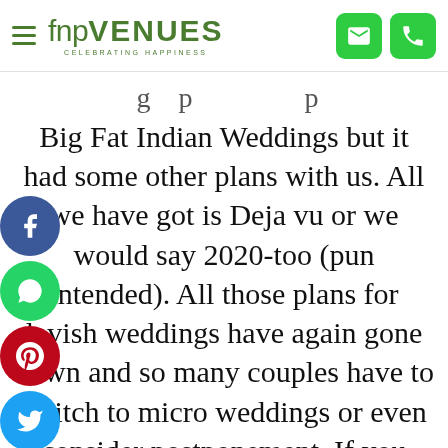fnp VENUES — CELEBRATING HAPPINESS
Big Fat Indian Weddings but it had some other plans with us. All we have got is Deja vu or we would say 2020-too (pun intended). All those plans for lavish weddings have again gone down and so many couples have to switch to micro weddings or even consider postponement. If you don't want to wait for any more to tie the knot with the love of your life then you should try to make your wedding with 20 guests a memorable one too! Here are some tips to help you make the most of your